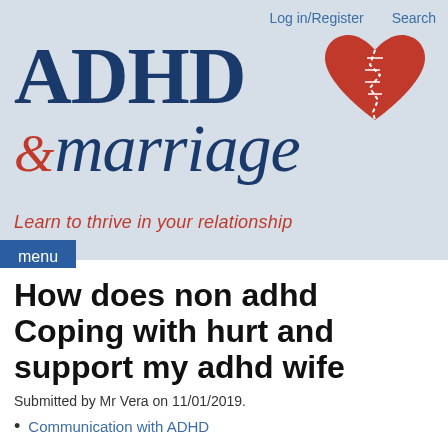Log in/Register   Search
[Figure (logo): ADHD & marriage logo with a broken/stitched heart icon in red. Text reads 'ADHD & marriage']
Learn to thrive in your relationship
menu
How does non adhd Coping with hurt and support my adhd wife
Submitted by Mr Vera on 11/01/2019.
Communication with ADHD